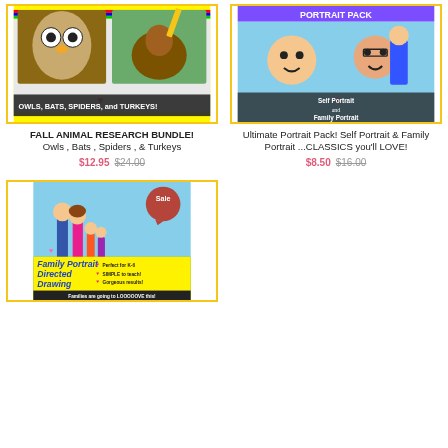[Figure (illustration): Product thumbnail for Fall Animal Research Bundle showing owl, bat, spider, turkey photos with colorful border and pencil, text: OWLS, BATS, SPIDERS, and TURKEYS!]
FALL ANIMAL RESEARCH BUNDLE!
Owls , Bats , Spiders , & Turkeys
$12.95 $24.00
[Figure (illustration): Product thumbnail for Ultimate Portrait Pack showing cartoon self-portrait and family portrait drawings with colorful background]
Ultimate Portrait Pack! Self Portrait & Family Portrait ...CLASSICS you'll LOVE!
$8.50 $16.00
[Figure (illustration): Product thumbnail for Family Portrait Directed Drawing showing cartoon family on grass with Sale badge, text: Family Portrait Directed Drawing - Perfect for K-6, SIMPLE to teach!, Gorgeous results!, Families are going to LOOOOOVE this!]